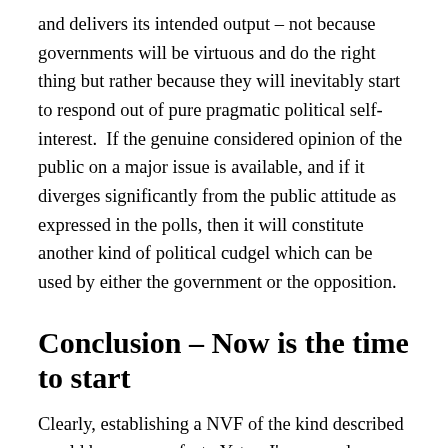and delivers its intended output – not because governments will be virtuous and do the right thing but rather because they will inevitably start to respond out of pure pragmatic political self-interest.  If the genuine considered opinion of the public on a major issue is available, and if it diverges significantly from the public attitude as expressed in the polls, then it will constitute another kind of political cudgel which can be used by either the government or the opposition.
Conclusion – Now is the time to start
Clearly, establishing a NVF of the kind described would be no mean feat.  Yet as I've argued, we need such a